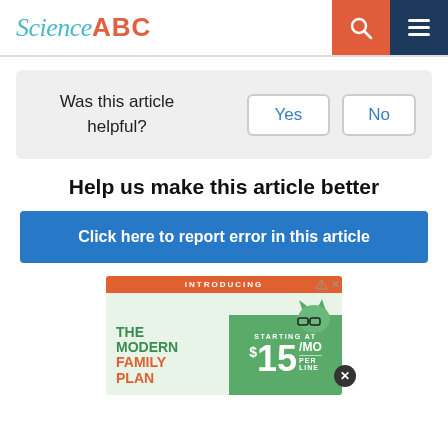Science ABC
Was this article helpful?
Yes  No
Help us make this article better
Click here to report error in this article
[Figure (infographic): Advertisement for The Modern Family Plan starting at $15/mo per line, with a cartoon cat graphic and orange/green color scheme.]